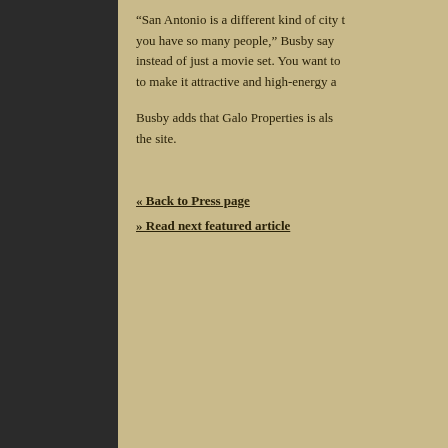“San Antonio is a different kind of city than you have so many people,” Busby says instead of just a movie set. You want to make it attractive and high-energy a
Busby adds that Galo Properties is also the site.
« Back to Press page
» Read next featured article
© 2007-2022 Drake Commercial Group, LP. All rights reserved. Texas Real Estate Commission Information About Brokerage Services Texas Real Estate Commission Consumer Protection Notice Web design and development by Drewa Designs